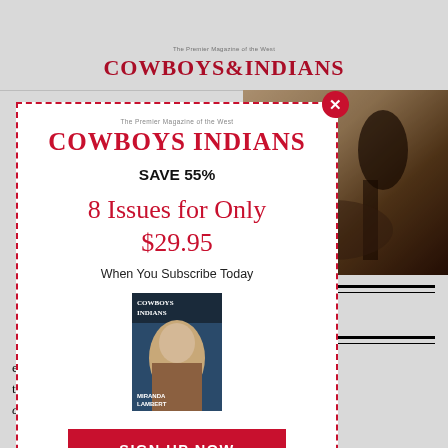Cowboys & Indians
[Figure (photo): Sepia-toned photograph visible in upper right behind modal popup, showing a dark silhouette figure]
leton Round-Up and ll of Fame
e eliminated. Each of the three men in contention for the silver saddle and the champion's title was an outstanding horseman in his own
[Figure (screenshot): Modal subscription popup for Cowboys & Indians magazine. Contains: tagline 'The Premier Magazine of the West', logo 'COWBOYS & INDIANS', text 'SAVE 55%', offer '8 Issues for Only $29.95', 'When You Subscribe Today', magazine cover image featuring Miranda Lambert, and a red 'SIGN UP NOW' button. A red circle X close button is at top right.]